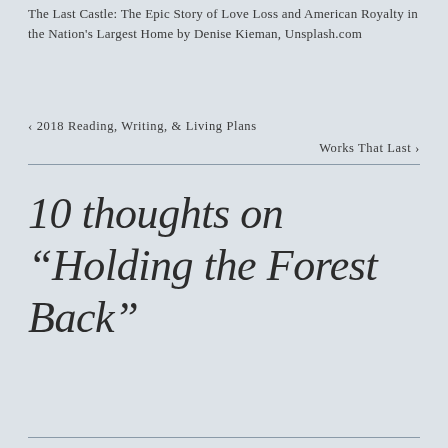The Last Castle: The Epic Story of Love Loss and American Royalty in the Nation's Largest Home by Denise Kieman, Unsplash.com
< 2018 Reading, Writing, & Living Plans
Works That Last >
10 thoughts on “Holding the Forest Back”